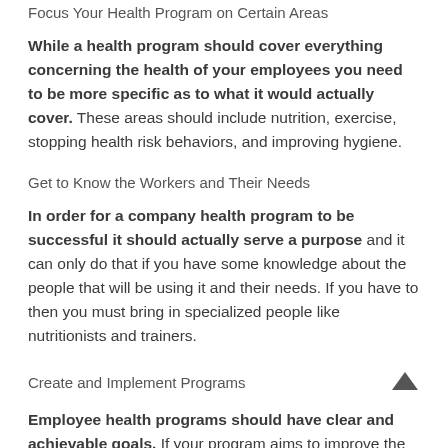Focus Your Health Program on Certain Areas
While a health program should cover everything concerning the health of your employees you need to be more specific as to what it would actually cover. These areas should include nutrition, exercise, stopping health risk behaviors, and improving hygiene.
Get to Know the Workers and Their Needs
In order for a company health program to be successful it should actually serve a purpose and it can only do that if you have some knowledge about the people that will be using it and their needs. If you have to then you must bring in specialized people like nutritionists and trainers.
Create and Implement Programs
Employee health programs should have clear and achievable goals. If your program aims to improve the